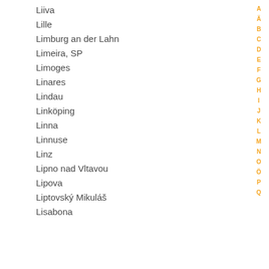Liiva
Lille
Limburg an der Lahn
Limeira, SP
Limoges
Linares
Lindau
Linköping
Linna
Linnuse
Linz
Lipno nad Vltavou
Lipova
Liptovský Mikuláš
Lisabona